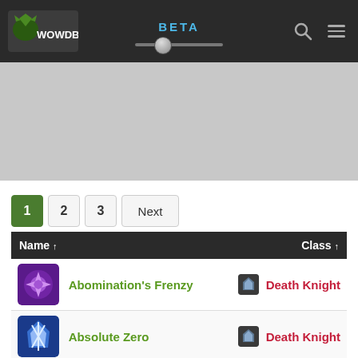WOWDB BETA
[Figure (screenshot): Gray banner/advertisement area]
Pagination: 1 (active), 2, 3, Next
| Name ↑ | Class ↑ |
| --- | --- |
| Abomination's Frenzy | Death Knight |
| Absolute Zero | Death Knight |
| Agony Gaze | Demon Hunter |
| (partial row) | (partial) |